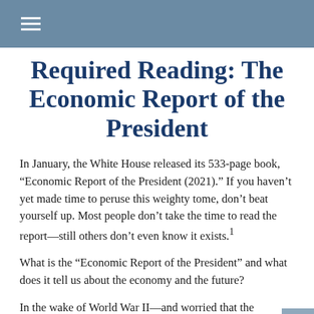Required Reading: The Economic Report of the President
In January, the White House released its 533-page book, “Economic Report of the President (2021).” If you haven’t yet made time to peruse this weighty tome, don’t beat yourself up. Most people don’t take the time to read the report—still others don’t even know it exists.¹
What is the “Economic Report of the President” and what does it tell us about the economy and the future?
In the wake of World War II—and worried that the economy might fall back into another Great Depression